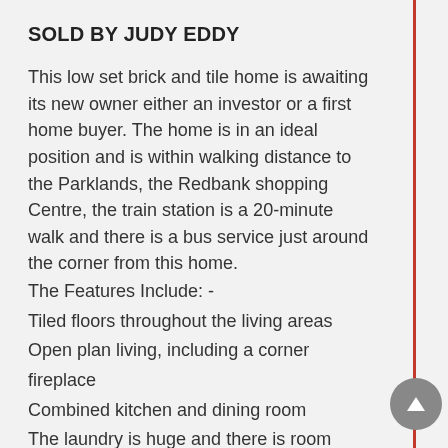SOLD BY JUDY EDDY
This low set brick and tile home is awaiting its new owner either an investor or a first home buyer. The home is in an ideal position and is within walking distance to the Parklands, the Redbank shopping Centre, the train station is a 20-minute walk and there is a bus service just around the corner from this home.
The Features Include: -
Tiled floors throughout the living areas
Open plan living, including a corner fireplace
Combined kitchen and dining room
The laundry is huge and there is room here for a study nook if needed